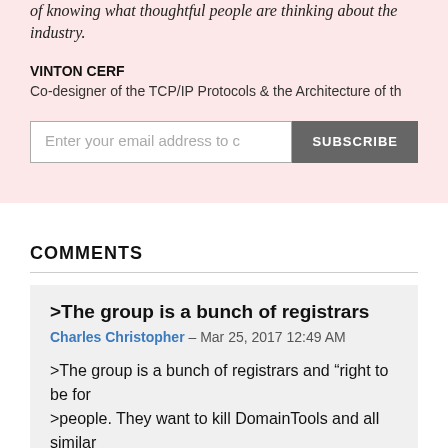of knowing what thoughtful people are thinking about the industry.
VINTON CERF
Co-designer of the TCP/IP Protocols & the Architecture of th
Enter your email address to subscribe — SUBSCRIBE
COMMENTS
>The group is a bunch of registrars
Charles Christopher — Mar 25, 2017 12:49 AM
>The group is a bunch of registrars and "right to be for >people. They want to kill DomainTools and all similar
As a registrar I want to no longer have the responsibili Whois should be in the Registry NOT the registrar. It